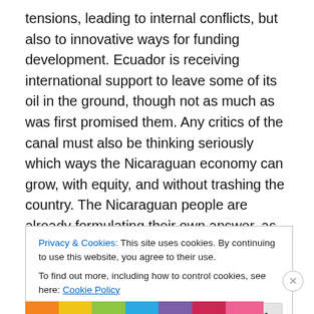tensions, leading to internal conflicts, but also to innovative ways for funding development. Ecuador is receiving international support to leave some of its oil in the ground, though not as much as was first promised them. Any critics of the canal must also be thinking seriously which ways the Nicaraguan economy can grow, with equity, and without trashing the country. The Nicaraguan people are already formulating their own answer, as 70% were in favour of the canal in a poll conducted immediately after the announcement.
Privacy & Cookies: This site uses cookies. By continuing to use this website, you agree to their use. To find out more, including how to control cookies, see here: Cookie Policy